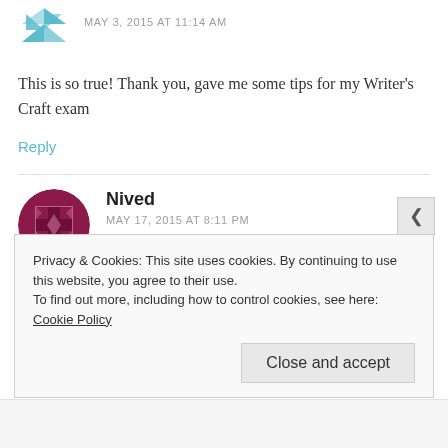MAY 3, 2015 AT 11:14 AM
This is so true! Thank you, gave me some tips for my Writer's Craft exam
Reply
Nived
MAY 17, 2015 AT 8:11 PM
That's a key to your self realisation. this article
Privacy & Cookies: This site uses cookies. By continuing to use this website, you agree to their use. To find out more, including how to control cookies, see here: Cookie Policy
Close and accept